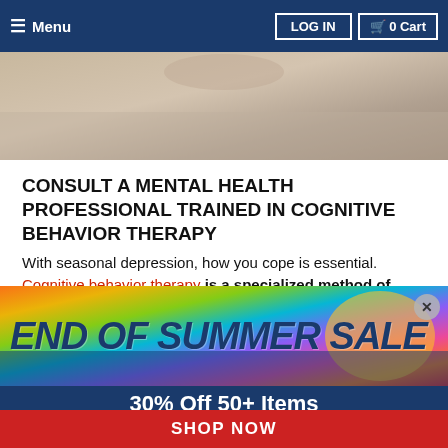☰ Menu   LOG IN   🛒 0 Cart
[Figure (photo): Hero image showing a person, partially visible, light tones]
Go to Top
CONSULT A MENTAL HEALTH PROFESSIONAL TRAINED IN COGNITIVE BEHAVIOR THERAPY
With seasonal depression, how you cope is essential. Cognitive behavior therapy is a specialized method of treatment proven to help cope with SAD. It involves
[Figure (infographic): END OF SUMMER SALE advertisement banner with colorful sunset sky background and close button]
30% Off 50+ Items
8/15 to 8/21
SHOP NOW